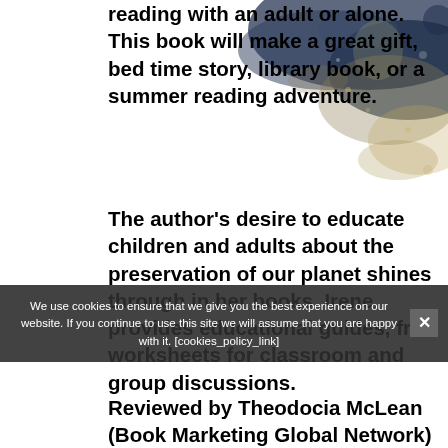reading with an adult or alone. This book will make a great gift, bed time story, library book, or a summer reading adventure.
The author's desire to educate children and adults about the preservation of our planet shines through in her books. Irene provides educational guides, free worksheets for classroom and group discussions.
We use cookies to ensure that we give you the best experience on our website. If you continue to use this site we will assume that you are happy with it. [cookies_policy_link]
Reviewed by Theodocia McLean (Book Marketing Global Network)